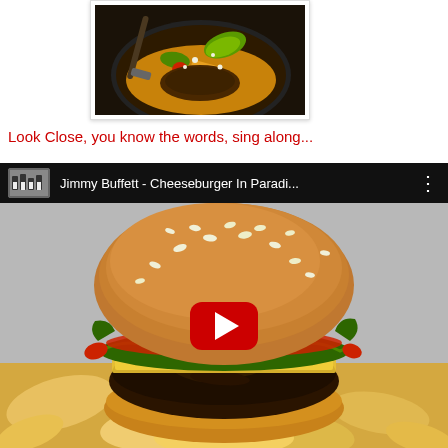[Figure (photo): Food in a cast iron skillet with vegetables and toppings, partial view at top of page]
Look Close, you know the words, sing along...
[Figure (screenshot): YouTube video embed showing Jimmy Buffett - Cheeseburger In Paradise with a large cheeseburger image and red play button overlay]